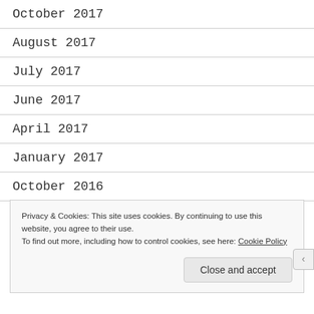October 2017
August 2017
July 2017
June 2017
April 2017
January 2017
October 2016
Privacy & Cookies: This site uses cookies. By continuing to use this website, you agree to their use.
To find out more, including how to control cookies, see here: Cookie Policy
Close and accept